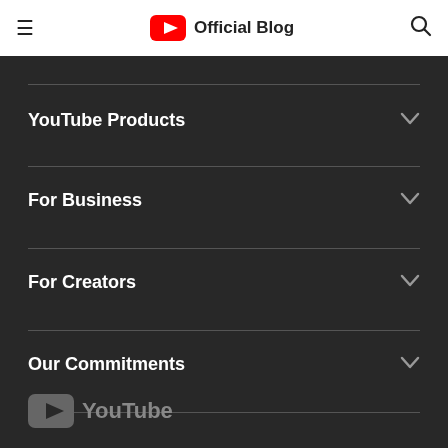YouTube Official Blog
YouTube Products
For Business
For Creators
Our Commitments
[Figure (logo): YouTube logo in gray color at the bottom of the dark navigation section]